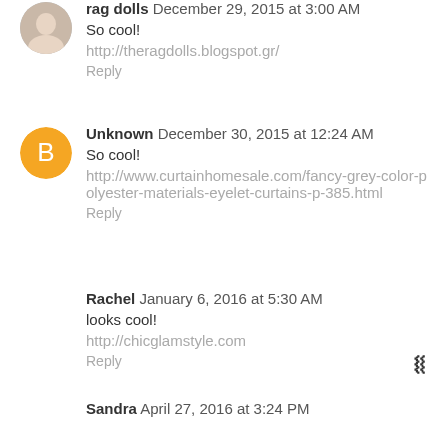rag dolls  December 29, 2015 at 3:00 AM
So cool!
http://theragdolls.blogspot.gr/
Reply
Unknown  December 30, 2015 at 12:24 AM
So cool!
http://www.curtainhomesale.com/fancy-grey-color-polyester-materials-eyelet-curtains-p-385.html
Reply
Rachel  January 6, 2016 at 5:30 AM
looks cool!
http://chicglamstyle.com
Reply
Sandra  April 27, 2016 at 3:24 PM